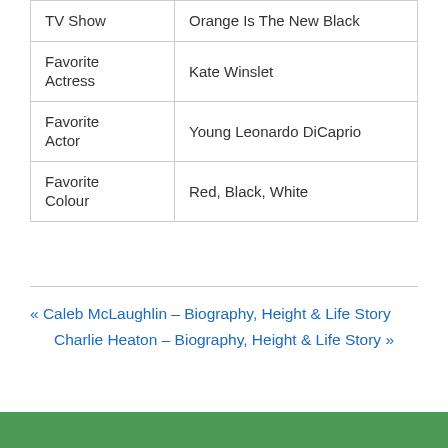| TV Show | Orange Is The New Black |
| Favorite Actress | Kate Winslet |
| Favorite Actor | Young Leonardo DiCaprio |
| Favorite Colour | Red, Black, White |
« Caleb McLaughlin – Biography, Height & Life Story
Charlie Heaton – Biography, Height & Life Story »